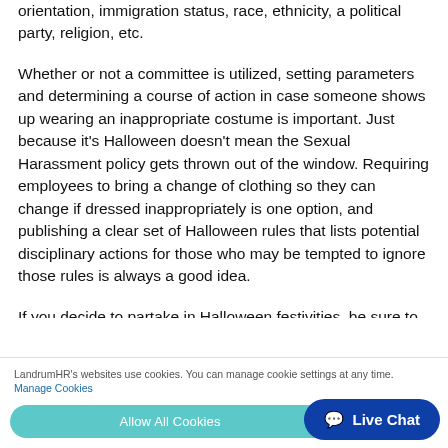orientation, immigration status, race, ethnicity, a political party, religion, etc.
Whether or not a committee is utilized, setting parameters and determining a course of action in case someone shows up wearing an inappropriate costume is important. Just because it's Halloween doesn't mean the Sexual Harassment policy gets thrown out of the window. Requiring employees to bring a change of clothing so they can change if dressed inappropriately is one option, and publishing a clear set of Halloween rules that lists potential disciplinary actions for those who may be tempted to ignore those rules is always a good idea.
If you decide to partake in Halloween festivities, be sure to have supervisors ready to step up and lead by example. They will need to be the front line of dressing and acting professionally, just as they will need to be ready to hold employees who cross the line accountable.
LandrumHR's websites use cookies. You can manage cookie settings at any time. Manage Cookies
Allow All Cookies
Live Chat